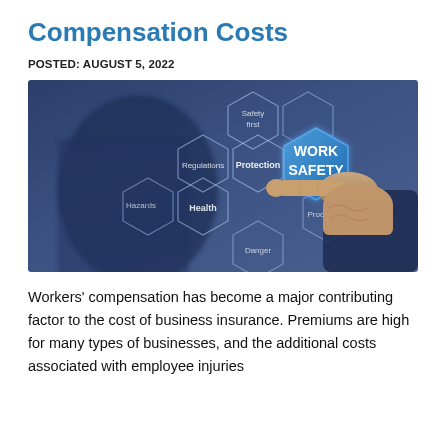Compensation Costs
POSTED: AUGUST 5, 2022
[Figure (photo): Person in business suit pointing at a hexagonal work safety diagram with nodes labeled: Work Safety (highlighted in blue), Protection, Regulations, Health, Hazards, Safety first, Procedures, Danger]
Workers' compensation has become a major contributing factor to the cost of business insurance. Premiums are high for many types of businesses, and the additional costs associated with employee injuries